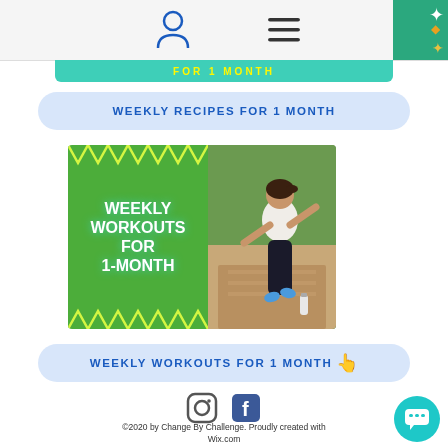[Figure (screenshot): Website navigation bar with person icon and hamburger menu, green decorative corner]
[Figure (screenshot): Partial teal banner showing FOR 1 MONTH text]
WEEKLY RECIPES FOR 1 MONTH
[Figure (photo): Green and white composite image: left half shows green background with zigzag chevron pattern and text WEEKLY WORKOUTS FOR 1-MONTH; right half shows woman stretching leg outdoors on a path]
WEEKLY WORKOUTS FOR 1 MONTH
[Figure (illustration): Instagram and Facebook social media icons]
©2020 by Change By Challenge. Proudly created with Wix.com